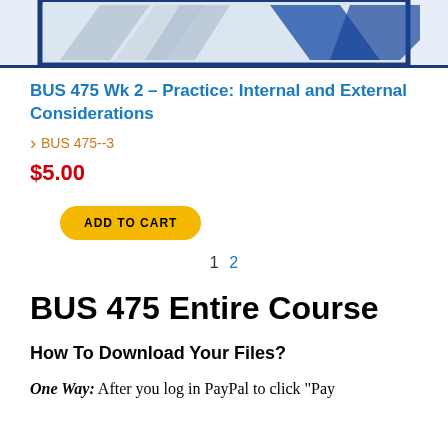[Figure (illustration): Partial view of a document/book cover with diagonal arrow/chevron shapes on a blue-bordered frame, clipped at top]
BUS 475 Wk 2 - Practice: Internal and External Considerations
BUS 475--3
$5.00
ADD TO CART
1  2
BUS 475 Entire Course
How To Download Your Files?
One Way:  After you log in PayPal to click "Pay